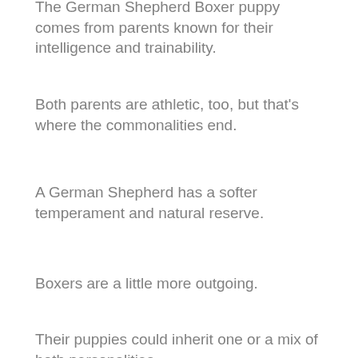The German Shepherd Boxer puppy comes from parents known for their intelligence and trainability.
Both parents are athletic, too, but that's where the commonalities end.
A German Shepherd has a softer temperament and natural reserve.
Boxers are a little more outgoing.
Their puppies could inherit one or a mix of both personalities.
Even within a single litter, some puppies could be a little shy, and other bouncing extroverts.